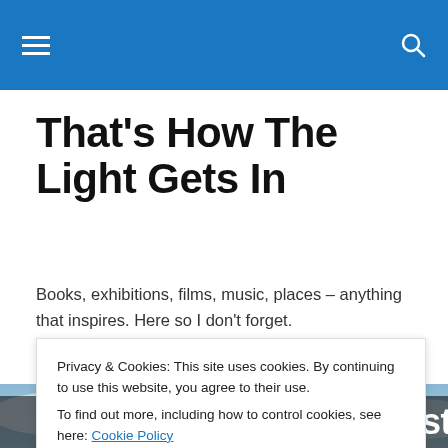That's How The Light Gets In — navigation bar
That's How The Light Gets In
Books, exhibitions, films, music, places – anything that inspires. Here so I don't forget.
[Figure (photo): Scenic coastal photo with a rainbow arching over a cloudy blue sky and sea]
Privacy & Cookies: This site uses cookies. By continuing to use this website, you agree to their use.
To find out more, including how to control cookies, see here: Cookie Policy
Close and accept
Observe the Sons of Ulster